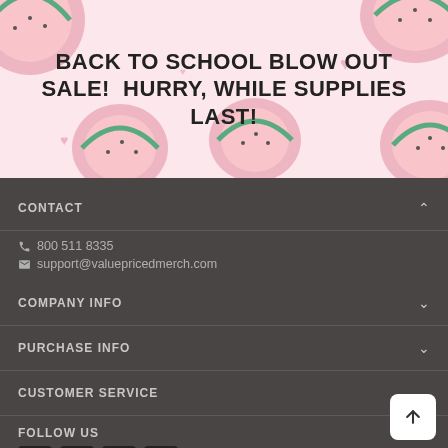BACK TO SCHOOL BLOW OUT SALE!  HURRY, WHILE SUPPLIES LAST!
CONTACT
800 511 8335
support@valuepricedmerch.com
COMPANY INFO
PURCHASE INFO
CUSTOMER SERVICE
FOLLOW US